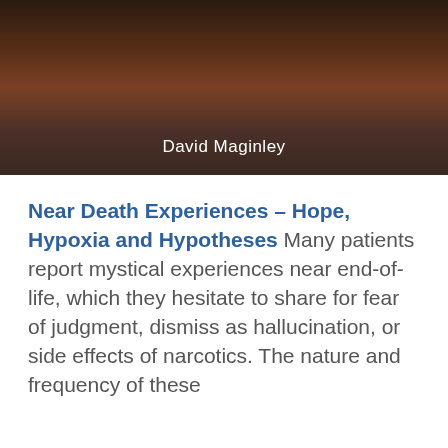[Figure (photo): Dark book cover with ornate decorative text at top (partially visible), gradient dark brown to near-black background, with author name 'David Maginley' in white text centered near the bottom of the cover image.]
Near Death Experiences – Hope, Hypoxia and Hypotheses
Many patients report mystical experiences near end-of-life, which they hesitate to share for fear of judgment, dismiss as hallucination, or side effects of narcotics. The nature and frequency of these